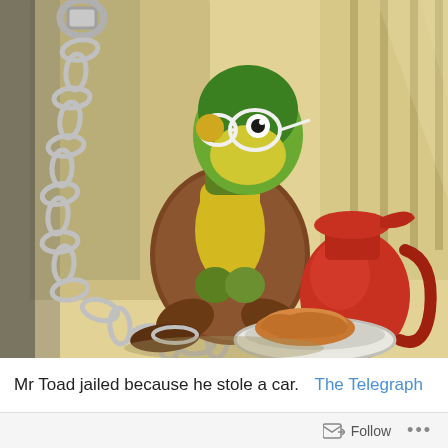[Figure (illustration): Children's book illustration of Mr Toad (anthropomorphic frog in brown suit and yellow waistcoat) chained to a wall in a dungeon cell, sitting hunched over. A large red pitcher/jug and a plate with bread sit on the floor beside him. A heavy chain hangs from the wall on the left. The background shows grey stone walls with light filtering through bars.]
Mr Toad jailed because he stole a car.  The Telegraph
Follow ...